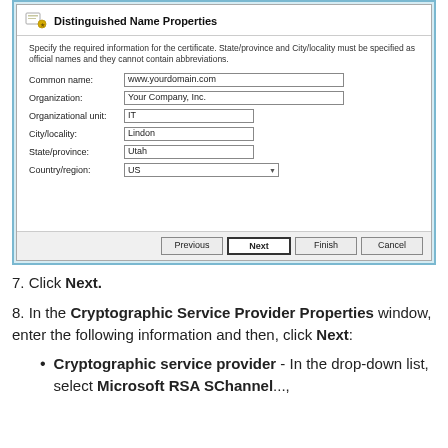[Figure (screenshot): Windows dialog box titled 'Distinguished Name Properties' with form fields: Common name (www.yourdomain.com), Organization (Your Company, Inc.), Organizational unit (IT), City/locality (Lindon), State/province (Utah), Country/region (US dropdown). Buttons at bottom: Previous, Next (active), Finish, Cancel.]
7. Click Next.
8. In the Cryptographic Service Provider Properties window, enter the following information and then, click Next:
Cryptographic service provider - In the drop-down list, select Microsoft RSA SChannel...,